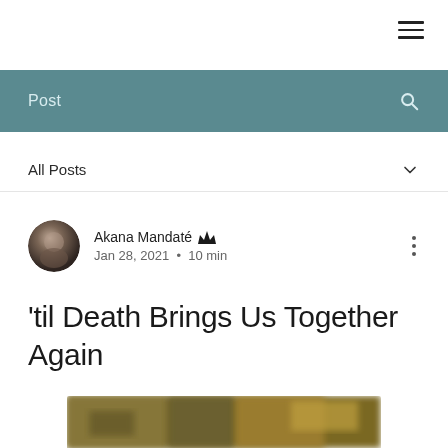☰ (hamburger menu icon)
Post
All Posts
Akana Mandaté 👑 Jan 28, 2021 · 10 min
'til Death Brings Us Together Again
[Figure (photo): Partially visible blurred outdoor photo at the bottom of the page]